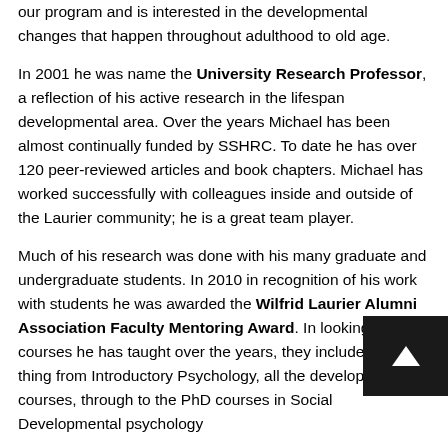our program and is interested in the developmental changes that happen throughout adulthood to old age.
In 2001 he was name the University Research Professor, a reflection of his active research in the lifespan developmental area. Over the years Michael has been almost continually funded by SSHRC. To date he has over 120 peer-reviewed articles and book chapters. Michael has worked successfully with colleagues inside and outside of the Laurier community; he is a great team player.
Much of his research was done with his many graduate and undergraduate students. In 2010 in recognition of his work with students he was awarded the Wilfrid Laurier Alumni Association Faculty Mentoring Award. In looking at the courses he has taught over the years, they include everything from Introductory Psychology, all the developmental courses, through to the PhD courses in Social Developmental psychology